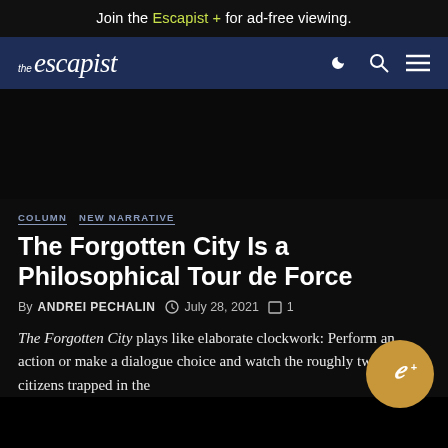Join the Escapist + for ad-free viewing.
the escapist
COLUMN  NEW NARRATIVE
The Forgotten City Is a Philosophical Tour de Force
By ANDREI PECHALIN  July 28, 2021  1
The Forgotten City plays like elaborate clockwork: Perform an action or make a dialogue choice and watch the roughly two dozen citizens trapped in the